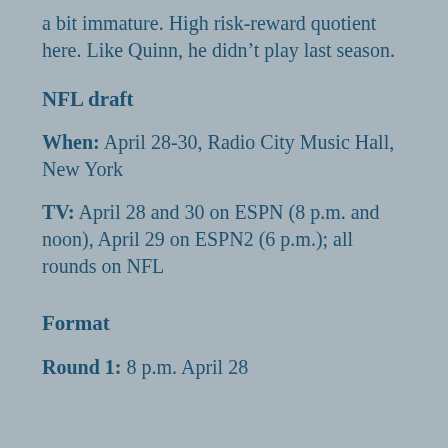a bit immature. High risk-reward quotient here. Like Quinn, he didn't play last season.
NFL draft
When: April 28-30, Radio City Music Hall, New York
TV: April 28 and 30 on ESPN (8 p.m. and noon), April 29 on ESPN2 (6 p.m.); all rounds on NFL
Format
Round 1: 8 p.m. April 28